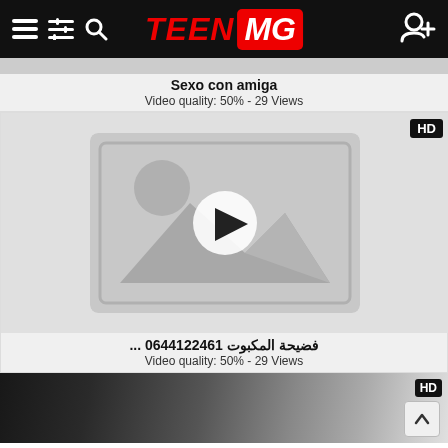TEEN MG
Sexo con amiga
Video quality: 50% - 29 Views
[Figure (screenshot): Video thumbnail placeholder with image icon and play button, HD badge]
فضيحة المكبوت 0644122461 ...
Video quality: 50% - 29 Views
[Figure (screenshot): Partial video thumbnail showing blurred content with HD badge]